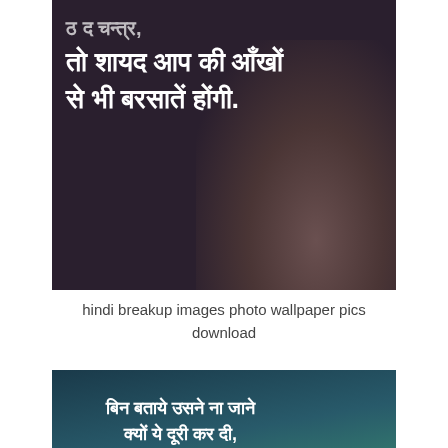[Figure (photo): Dark background image with Hindi text in white bold font reading partial quote about eyes and rain, with a person silhouette in background]
hindi breakup images photo wallpaper pics download
[Figure (photo): Dark teal-to-golden sky background image with Hindi text in white bold font about distance and separation (breakup shayari), with a person silhouette on right side]